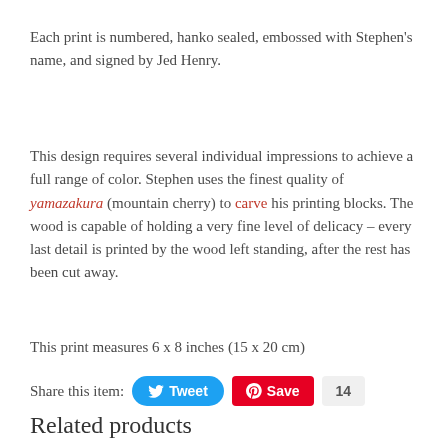Each print is numbered, hanko sealed, embossed with Stephen's name, and signed by Jed Henry.
This design requires several individual impressions to achieve a full range of color. Stephen uses the finest quality of yamazakura (mountain cherry) to carve his printing blocks. The wood is capable of holding a very fine level of delicacy – every last detail is printed by the wood left standing, after the rest has been cut away.
This print measures 6 x 8 inches (15 x 20 cm)
Share this item:
Related products